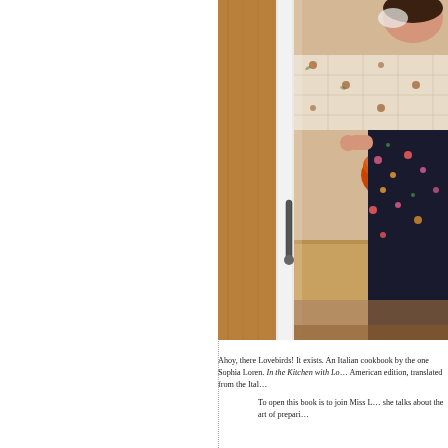[Figure (photo): A woman in a floral dress cooking in an Italian-style kitchen with decorative tiles, wooden cabinetry, and a large orange bowl. The photo is partially visible on the right side of the page.]
Ahoy, there Lovebirds! It exists. An Italian cookbook by the one Sophia Loren. In the Kitchen with Lo... American edition, translated from the Ital...
To open this book is to join Miss L... she talks about the art of prepari...